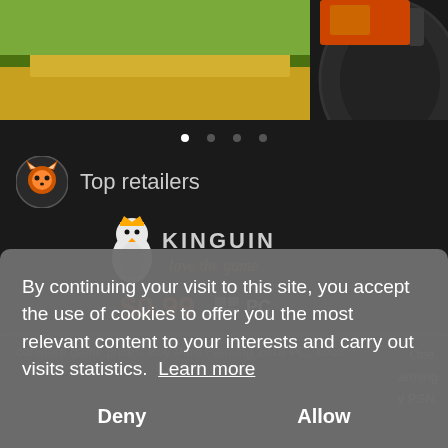[Figure (screenshot): Farming game screenshot showing wheat field and tractor wheel at top of page]
[Figure (screenshot): Kinguin retailer logo with penguin mascot wearing crown, price $0.99, PC platform badge]
Top retailers
$0.99  PC
compare game prices. Buy Pure Farming 2018 PC, Xbox One, farming ... y PSN.
By continuing your visit to this site, you accept the use of cookies to offer you the most relevant content to your interests and carry out visits statistics. Learn more
Deny
Allow